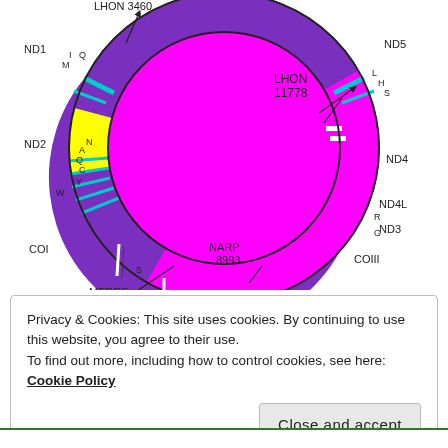[Figure (schematic): Circular mitochondrial DNA map showing gene regions (ND1, ND2, COI, COII, COIII, ND3, ND4L, ND4, ND5 in magenta/purple/yellow), tRNA positions (letters), and disease mutation sites: LHON 3460, LHON 11778, MERRF 8344, NARP 8993, with position labels ATPase6, ATPase8, and tRNA letters I, M, Q, A, N, C, Y, W, S, D, K, G, R, H, S, L.]
Privacy & Cookies: This site uses cookies. By continuing to use this website, you agree to their use.
To find out more, including how to control cookies, see here: Cookie Policy
Close and accept